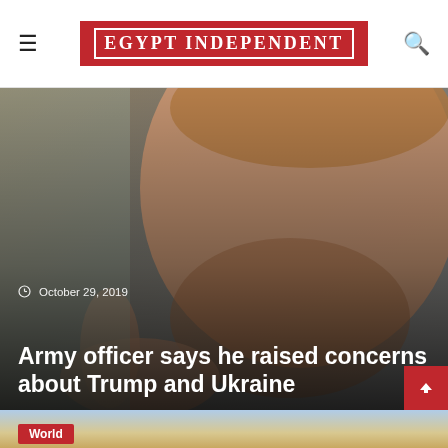EGYPT INDEPENDENT
[Figure (photo): Close-up photo of a man speaking, pointing a finger, with a blurred background. Date overlay: October 29, 2019. Headline overlay: Army officer says he raised concerns about Trump and Ukraine.]
October 29, 2019
Army officer says he raised concerns about Trump and Ukraine
[Figure (photo): Partial photo of a man in front of a sky background, with a 'World' category badge.]
World